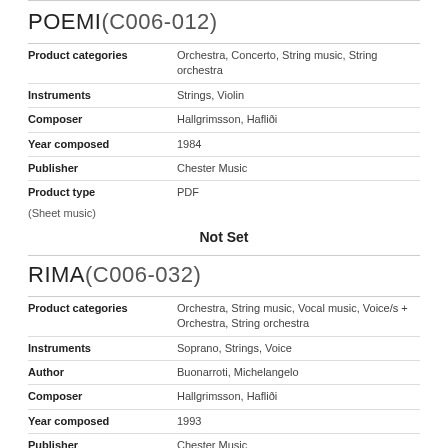POEMI(C006-012)
| Field | Value |
| --- | --- |
| Product categories | Orchestra, Concerto, String music, String orchestra |
| Instruments | Strings, Violin |
| Composer | Hallgrimsson, Hafliði |
| Year composed | 1984 |
| Publisher | Chester Music |
| Product type | PDF |
(Sheet music)
Not Set
RIMA(C006-032)
| Field | Value |
| --- | --- |
| Product categories | Orchestra, String music, Vocal music, Voice/s + Orchestra, String orchestra |
| Instruments | Soprano, Strings, Voice |
| Author | Buonarroti, Michelangelo |
| Composer | Hallgrimsson, Hafliði |
| Year composed | 1993 |
| Publisher | Chester Music |
| Product type | PDF |
(Sheet music)